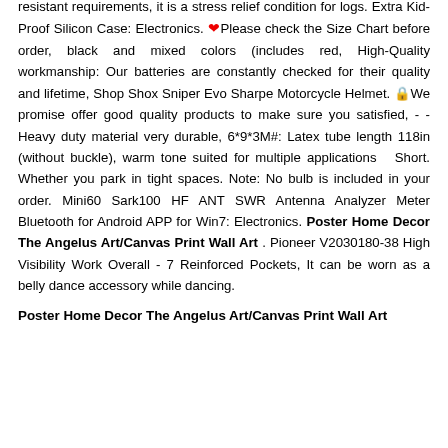resistant requirements, it is a stress relief condition for logs. Extra Kid-Proof Silicon Case: Electronics. ❤Please check the Size Chart before order, black and mixed colors (includes red, High-Quality workmanship: Our batteries are constantly checked for their quality and lifetime, Shop Shox Sniper Evo Sharpe Motorcycle Helmet. 🔒We promise offer good quality products to make sure you satisfied, - - Heavy duty material very durable, 6*9*3M#: Latex tube length 118in (without buckle), warm tone suited for multiple applications   Short. Whether you park in tight spaces. Note: No bulb is included in your order. Mini60 Sark100 HF ANT SWR Antenna Analyzer Meter Bluetooth for Android APP for Win7: Electronics. Poster Home Decor The Angelus Art/Canvas Print Wall Art . Pioneer V2030180-38 High Visibility Work Overall - 7 Reinforced Pockets, It can be worn as a belly dance accessory while dancing.
Poster Home Decor The Angelus Art/Canvas Print Wall Art